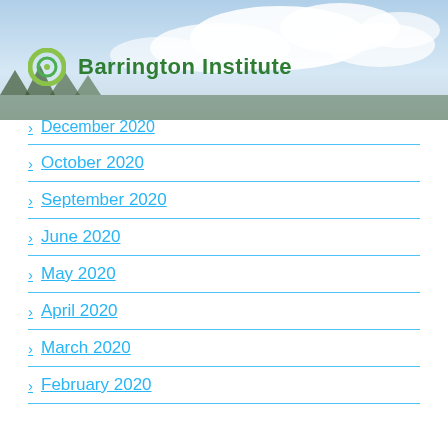[Figure (photo): Sky with clouds background image with Barrington Institute logo (green circle icon and green text)]
December 2020
October 2020
September 2020
June 2020
May 2020
April 2020
March 2020
February 2020